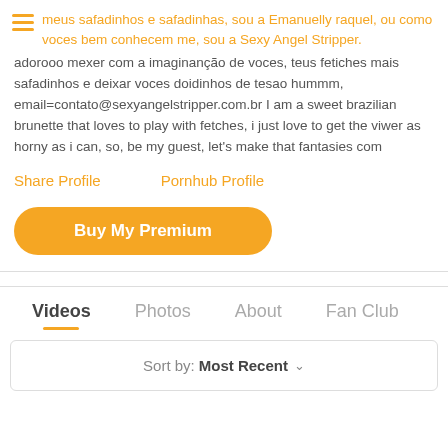meus safadinhos e safadinhas, sou a Emanuelly raquel, ou como voces bem conhecem me, sou a Sexy Angel Stripper. adorooo mexer com a imaginanção de voces, teus fetiches mais safadinhos e deixar voces doidinhos de tesao hummm, email=contato@sexyangelstripper.com.br I am a sweet brazilian brunette that loves to play with fetches, i just love to get the viwer as horny as i can, so, be my guest, let's make that fantasies com
Share Profile
Pornhub Profile
Buy My Premium
Videos
Photos
About
Fan Club
Sort by: Most Recent